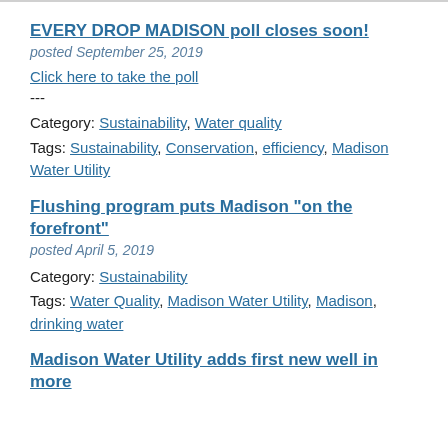EVERY DROP MADISON poll closes soon!
posted September 25, 2019
Click here to take the poll
---
Category: Sustainability, Water quality
Tags: Sustainability, Conservation, efficiency, Madison Water Utility
Flushing program puts Madison "on the forefront"
posted April 5, 2019
Category: Sustainability
Tags: Water Quality, Madison Water Utility, Madison, drinking water
Madison Water Utility adds first new well in more